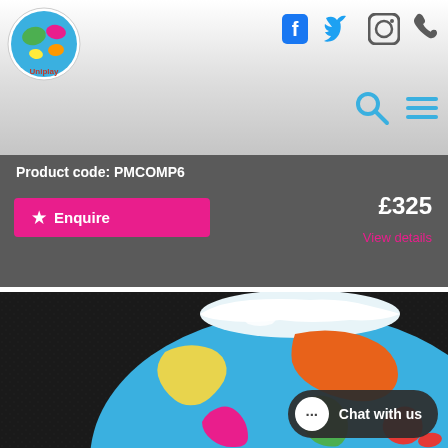Uniplay — website header with logo and social/navigation icons
Product code: PMCOMP6
Enquire
£325
View details
[Figure (photo): Colorful world map globe puzzle on dark leather-textured background showing continents in yellow, green, orange, magenta and red]
Chat with us